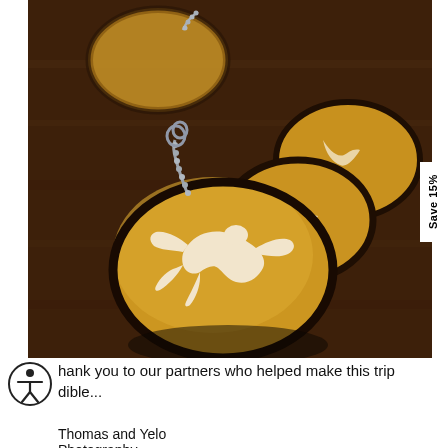[Figure (photo): Close-up photograph of multiple oval wooden keychains/pendants with a bird (swallow) silhouette design in white/cream on a warm golden-brown wooden surface. The keychains have ball chain loops. A 'Save 15%' tab is visible on the right side.]
Thank you to our partners who helped make this trip incredible...
Thomas and Yelo Photography